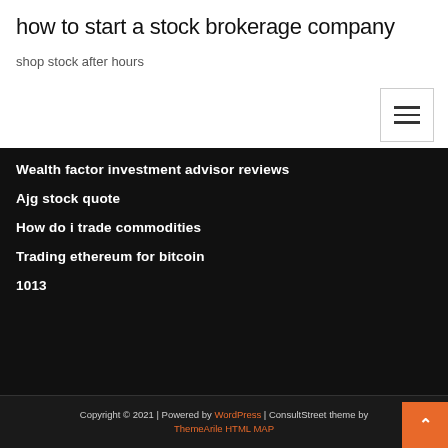how to start a stock brokerage company
shop stock after hours
Wealth factor investment advisor reviews
Ajg stock quote
How do i trade commodities
Trading ethereum for bitcoin
1013
Copyright © 2021 | Powered by WordPress | ConsultStreet theme by ThemeArile HTML MAP